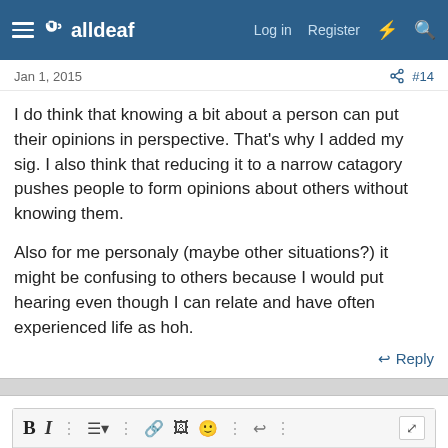alldeaf — Log in  Register
Jan 1, 2015  #14
I do think that knowing a bit about a person can put their opinions in perspective. That's why I added my sig. I also think that reducing it to a narrow catagory pushes people to form opinions about others without knowing them.

Also for me personaly (maybe other situations?) it might be confusing to others because I would put hearing even though I can relate and have often experienced life as hoh.
↩ Reply